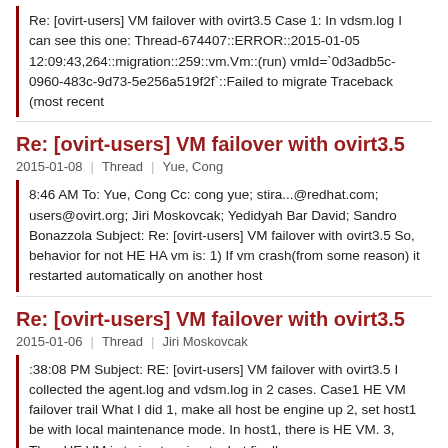Re: [ovirt-users] VM failover with ovirt3.5 Case 1: In vdsm.log I can see this one: Thread-674407::ERROR::2015-01-05 12:09:43,264::migration::259::vm.Vm::(run) vmId=`0d3adb5c-0960-483c-9d73-5e256a519f2f`::Failed to migrate Traceback (most recent
Re: [ovirt-users] VM failover with ovirt3.5
2015-01-08 | Thread | Yue, Cong
8:46 AM To: Yue, Cong Cc: cong yue; stira...@redhat.com; users@ovirt.org; Jiri Moskovcak; Yedidyah Bar David; Sandro Bonazzola Subject: Re: [ovirt-users] VM failover with ovirt3.5 So, behavior for not HE HA vm is: 1) If vm crash(from some reason) it restarted automatically on another host
Re: [ovirt-users] VM failover with ovirt3.5
2015-01-06 | Thread | Jiri Moskovcak
:38:08 PM Subject: RE: [ovirt-users] VM failover with ovirt3.5 I collected the agent.log and vdsm.log in 2 cases. Case1 HE VM failover trail What I did 1, make all host be engine up 2, set host1 be with local maintenance mode. In host1, there is HE VM. 3, Then HE VM is trying to migrate, but finally
Re: [ovirt-users] VM failover with ovirt3.5